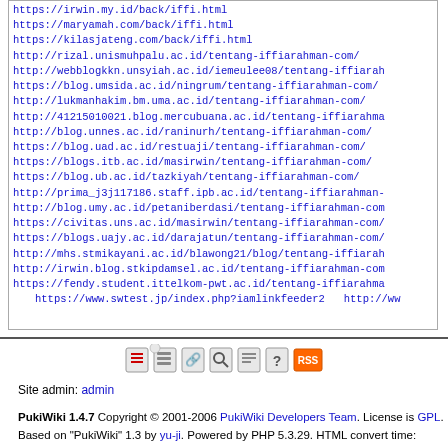https://irwin.my.id/back/iffi.html
https://maryamah.com/back/iffi.html
https://kilasjateng.com/back/iffi.html
http://rizal.unismuhpalu.ac.id/tentang-iffiarahman-com/
http://webblogkkn.unsyiah.ac.id/iemeulee08/tentang-iffiarah
https://blog.umsida.ac.id/ningrum/tentang-iffiarahman-com/
http://lukmanhakim.bm.uma.ac.id/tentang-iffiarahman-com/
http://41215010021.blog.mercubuana.ac.id/tentang-iffiarahma
http://blog.unnes.ac.id/raninurh/tentang-iffiarahman-com/
https://blog.uad.ac.id/restuaji/tentang-iffiarahman-com/
https://blogs.itb.ac.id/masirwin/tentang-iffiarahman-com/
https://blog.ub.ac.id/tazkiyah/tentang-iffiarahman-com/
http://prima_j3j117186.staff.ipb.ac.id/tentang-iffiarahman-
http://blog.umy.ac.id/petaniberdasi/tentang-iffiarahman-com
https://civitas.uns.ac.id/masirwin/tentang-iffiarahman-com/
https://blogs.uajy.ac.id/darajatun/tentang-iffiarahman-com/
http://mhs.stmikayani.ac.id/blawong21/blog/tentang-iffiarah
http://irwin.blog.stkipdamsel.ac.id/tentang-iffiarahman-com
https://fendy.student.ittelkom-pwt.ac.id/tentang-iffiarahma
https://www.swtest.jp/index.php?iamlinkfeeder2   http://ww
Site admin: admin
PukiWiki 1.4.7 Copyright © 2001-2006 PukiWiki Developers Team. License is GPL. Based on "PukiWiki" 1.3 by yu-ji. Powered by PHP 5.3.29. HTML convert time: 0.095 sec.